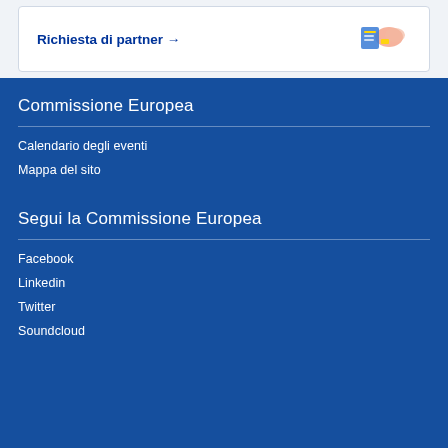Richiesta di partner →
Commissione Europea
Calendario degli eventi
Mappa del sito
Segui la Commissione Europea
Facebook
Linkedin
Twitter
Soundcloud